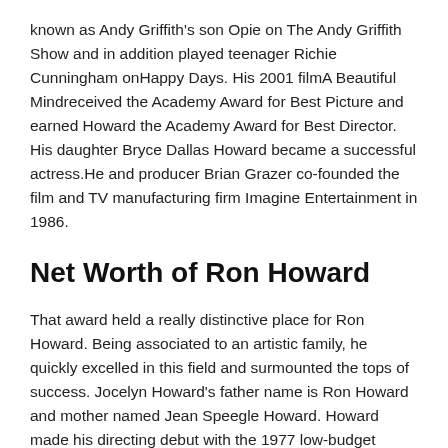known as Andy Griffith's son Opie on The Andy Griffith Show and in addition played teenager Richie Cunningham onHappy Days. His 2001 filmA Beautiful Mindreceived the Academy Award for Best Picture and earned Howard the Academy Award for Best Director. His daughter Bryce Dallas Howard became a successful actress.He and producer Brian Grazer co-founded the film and TV manufacturing firm Imagine Entertainment in 1986.
Net Worth of Ron Howard
That award held a really distinctive place for Ron Howard. Being associated to an artistic family, he quickly excelled in this field and surmounted the tops of success. Jocelyn Howard's father name is Ron Howard and mother named Jean Speegle Howard. Howard made his directing debut with the 1977 low-budget comedy/action film Grand Theft Auto. In